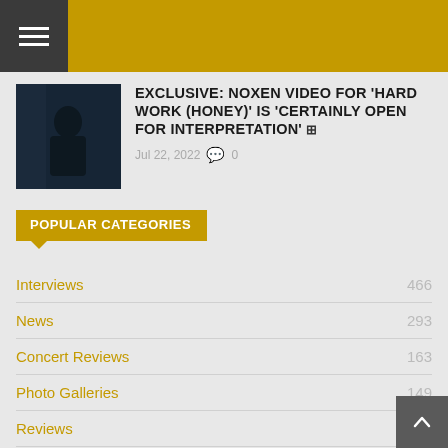Navigation header with menu button
EXCLUSIVE: NOXEN VIDEO FOR 'HARD WORK (HONEY)' IS 'CERTAINLY OPEN FOR INTERPRETATION'
Jul 22, 2022  0
POPULAR CATEGORIES
Interviews  466
News  293
Concert Reviews  163
Photo Galleries  149
Reviews  120
Album Reviews  92